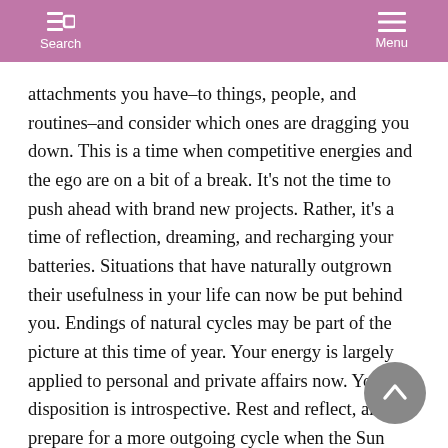Search  Menu
attachments you have–to things, people, and routines–and consider which ones are dragging you down. This is a time when competitive energies and the ego are on a bit of a break. It's not the time to push ahead with brand new projects. Rather, it's a time of reflection, dreaming, and recharging your batteries. Situations that have naturally outgrown their usefulness in your life can now be put behind you. Endings of natural cycles may be part of the picture at this time of year. Your energy is largely applied to personal and private affairs now. Your disposition is introspective. Rest and reflect, and prepare for a more outgoing cycle when the Sun moves into your first house.